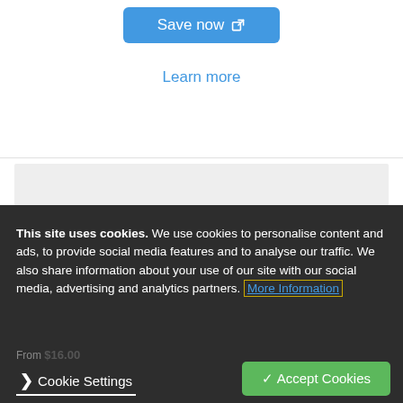[Figure (other): Blue 'Save now' button with external link icon]
Learn more
[Figure (other): Grey placeholder image/content box]
This site uses cookies. We use cookies to personalise content and ads, to provide social media features and to analyse our traffic. We also share information about your use of our site with our social media, advertising and analytics partners. More Information
From $16.00
❯ Cookie Settings
✓ Accept Cookies